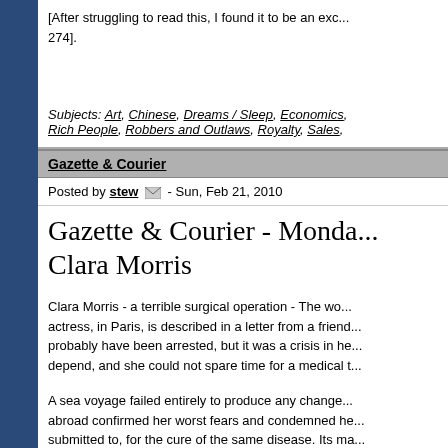[After struggling to read this, I found it to be an exc... 274].
Subjects: Art, Chinese, Dreams / Sleep, Economics, Rich People, Robbers and Outlaws, Royalty, Sales,
Gazette & Courier
Posted by stew - Sun, Feb 21, 2010
Gazette & Courier - Monda... Clara Morris
Clara Morris - a terrible surgical operation - The wo... actress, in Paris, is described in a letter from a friend... probably have been arrested, but it was a crisis in he... depend, and she could not spare time for a medical t...
A sea voyage failed entirely to produce any change... abroad confirmed her worst fears and condemned he... submitted to, for the cure of the same disease. Its ma... neck down to the waist with red hot irons.